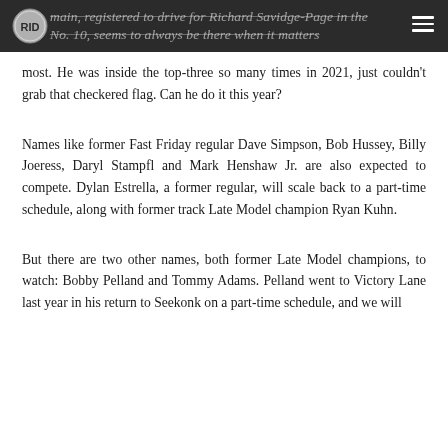…main, registered to drive for Richard Savidge-Page in the No. 10, seems to always be there when it matters most.
most. He was inside the top-three so many times in 2021, just couldn't grab that checkered flag. Can he do it this year?
Names like former Fast Friday regular Dave Simpson, Bob Hussey, Billy Joeress, Daryl Stampfl and Mark Henshaw Jr. are also expected to compete. Dylan Estrella, a former regular, will scale back to a part-time schedule, along with former track Late Model champion Ryan Kuhn.
But there are two other names, both former Late Model champions, to watch: Bobby Pelland and Tommy Adams. Pelland went to Victory Lane last year in his return to Seekonk on a part-time schedule, and we will